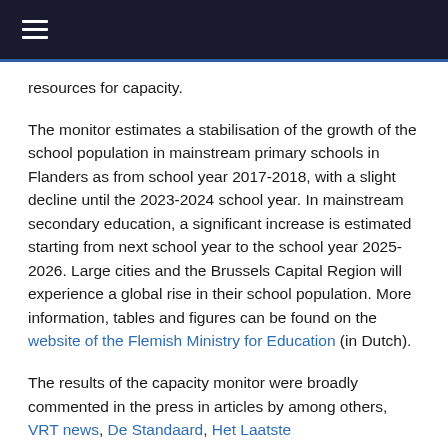≡
resources for capacity.
The monitor estimates a stabilisation of the growth of the school population in mainstream primary schools in Flanders as from school year 2017-2018, with a slight decline until the 2023-2024 school year. In mainstream secondary education, a significant increase is estimated starting from next school year to the school year 2025-2026. Large cities and the Brussels Capital Region will experience a global rise in their school population. More information, tables and figures can be found on the website of the Flemish Ministry for Education (in Dutch).
The results of the capacity monitor were broadly commented in the press in articles by among others, VRT news, De Standaard, Het Laatste